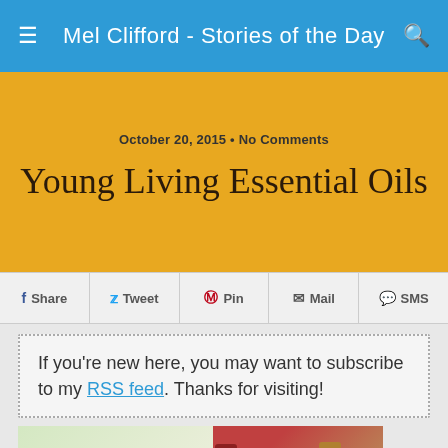Mel Clifford - Stories of the Day
October 20, 2015 • No Comments
Young Living Essential Oils
Share  Tweet  Pin  Mail  SMS
If you're new here, you may want to subscribe to my RSS feed. Thanks for visiting!
[Figure (logo): Young Living Essential Oils logo with decorative leaf graphic, alongside bottles of essential oils]